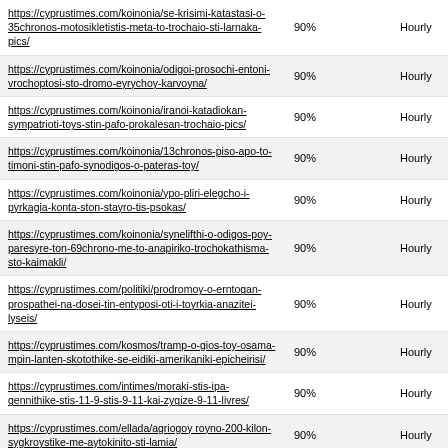| https://cyprustimes.com/koinonia/se-krisimi-katastasi-o-35chronos-motosikletistis-meta-to-trochaio-sti-larnaka-pics/ | 90% | Hourly |
| https://cyprustimes.com/koinonia/odigoi-prosochi-entoni-vrochoptosi-sto-dromo-eyrychoy-karvoyna/ | 90% | Hourly |
| https://cyprustimes.com/koinonia/iranoi-katadiokan-sympatrioti-toys-stin-pafo-prokalesan-trochaio-pics/ | 90% | Hourly |
| https://cyprustimes.com/koinonia/13chronos-piso-apo-to-timoni-stin-pafo-synodigos-o-pateras-toy/ | 90% | Hourly |
| https://cyprustimes.com/koinonia/ypo-pliri-elegcho-i-pyrkagia-konta-ston-stayro-tis-psokas/ | 90% | Hourly |
| https://cyprustimes.com/koinonia/synelifthi-o-odigos-poy-paresyre-ton-69chrono-me-to-anapiriko-trochokathisma-sto-kaimakli/ | 90% | Hourly |
| https://cyprustimes.com/politiki/prodromoy-o-erntogan-prospathei-na-dosei-tin-entyposi-oti-i-toyrkia-anazitei-lyseis/ | 90% | Hourly |
| https://cyprustimes.com/kosmos/tramp-o-gios-toy-osama-mpin-lanten-skotothike-se-eidiki-amerikaniki-epicheirisi/ | 90% | Hourly |
| https://cyprustimes.com/intimes/moraki-stis-ipa-gennithike-stis-11-9-stis-9-11-kai-zygize-9-11-livres/ | 90% | Hourly |
| https://cyprustimes.com/ellada/agriogoy royno-200-kilon-sygkroystike-me-aytokinito-sti-lamia/ | 90% | Hourly |
| https://cyprustimes.com/koinonia/trochaio-me-sovaro-traymatismo-35chronoy-motosikletisti-sti-larnaka/ | 90% | Hourly |
| https://cyprustimes.com/kosmos/chongk-kongk- | 90% | Hourly |